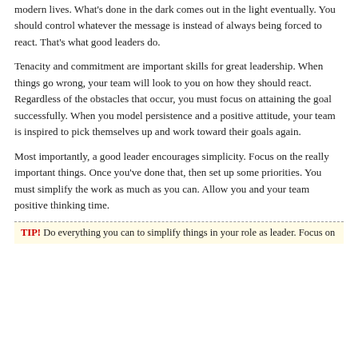modern lives. What's done in the dark comes out in the light eventually. You should control whatever the message is instead of always being forced to react. That's what good leaders do.
Tenacity and commitment are important skills for great leadership. When things go wrong, your team will look to you on how they should react. Regardless of the obstacles that occur, you must focus on attaining the goal successfully. When you model persistence and a positive attitude, your team is inspired to pick themselves up and work toward their goals again.
Most importantly, a good leader encourages simplicity. Focus on the really important things. Once you've done that, then set up some priorities. You must simplify the work as much as you can. Allow you and your team positive thinking time.
TIP! Do everything you can to simplify things in your role as leader. Focus on